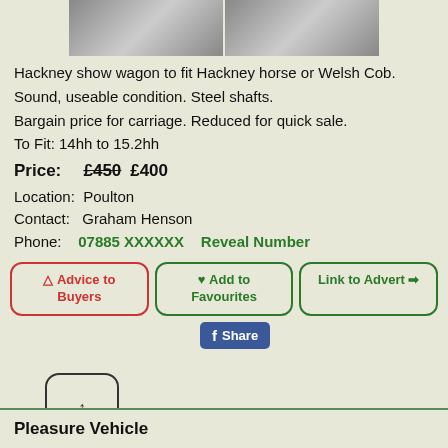[Figure (photo): Two photos of a Hackney show wagon/carriage hardware details, side by side]
Hackney show wagon to fit Hackney horse or Welsh Cob.
Sound, useable condition. Steel shafts.
Bargain price for carriage. Reduced for quick sale.
To Fit: 14hh to 15.2hh
Price: £450 £400
Location: Poulton
Contact: Graham Henson
Phone: 07885 XXXXXX   Reveal Number
▲ Advice to Buyers
♥ Add to Favourites
Link to Advert ➡
Share
↑
Pleasure Vehicle